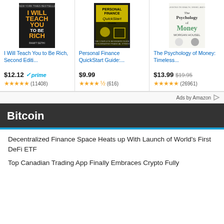[Figure (illustration): Book cover: I Will Teach You to Be Rich, Second Edition by Ramit Sethi. Black/yellow/orange design.]
[Figure (illustration): Book cover: Personal Finance QuickStart Guide. Black/yellow design with financial icons.]
[Figure (illustration): Book cover: The Psychology of Money: Timeless by Morgan Housel. Black and white design.]
I Will Teach You to Be Rich, Second Editi...
Personal Finance QuickStart Guide:...
The Psychology of Money: Timeless...
$12.12 prime (11408)
$9.99 (616)
$13.99 $19.95 (26961)
Ads by Amazon
Bitcoin
Decentralized Finance Space Heats up With Launch of World’s First DeFi ETF
Top Canadian Trading App Finally Embraces Crypto Fully